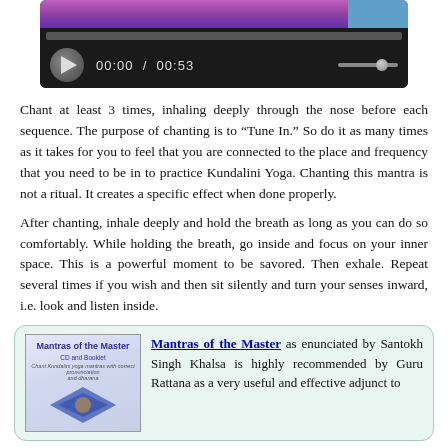[Figure (screenshot): Video/audio media player with play button, time display showing 00:00 / 00:53, and volume slider on dark background with purple/blue image at top]
Chant at least 3 times, inhaling deeply through the nose before each sequence. The purpose of chanting is to "Tune In." So do it as many times as it takes for you to feel that you are connected to the place and frequency that you need to be in to practice Kundalini Yoga. Chanting this mantra is not a ritual. It creates a specific effect when done properly.
After chanting, inhale deeply and hold the breath as long as you can do so comfortably. While holding the breath, go inside and focus on your inner space. This is a powerful moment to be savored. Then exhale. Repeat several times if you wish and then sit silently and turn your senses inward, i.e. look and listen inside.
[Figure (photo): Book cover for 'Mantras of the Master CD and Booklet' with blue geometric design]
Mantras of the Master as enunciated by Santokh Singh Khalsa is highly recommended by Guru Rattana as a very useful and effective adjunct to